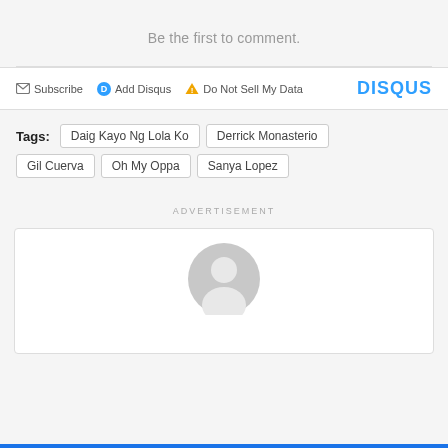Be the first to comment.
Subscribe  Add Disqus  Do Not Sell My Data  DISQUS
Tags:  Daig Kayo Ng Lola Ko  Derrick Monasterio  Gil Cuerva  Oh My Oppa  Sanya Lopez
ADVERTISEMENT
[Figure (other): User avatar placeholder circle with person silhouette icon in grey]